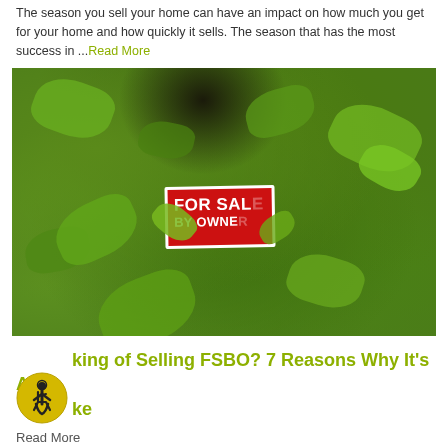The season you sell your home can have an impact on how much you get for your home and how quickly it sells. The season that has the most success in ...Read More
[Figure (photo): Photograph of a 'For Sale By Owner' sign surrounded by dense green ivy/leafy plants against a dark background]
Thinking of Selling FSBO? 7 Reasons Why It's A Mistake
Read More